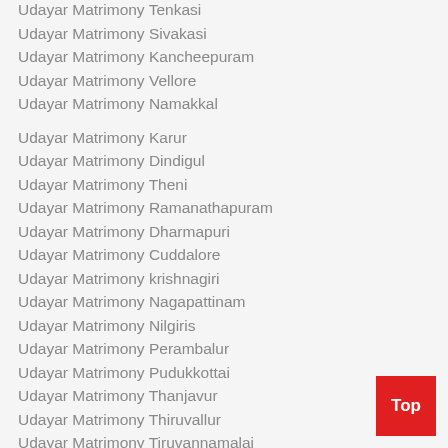Udayar Matrimony Tenkasi
Udayar Matrimony Sivakasi
Udayar Matrimony Kancheepuram
Udayar Matrimony Vellore
Udayar Matrimony Namakkal
Udayar Matrimony Karur
Udayar Matrimony Dindigul
Udayar Matrimony Theni
Udayar Matrimony Ramanathapuram
Udayar Matrimony Dharmapuri
Udayar Matrimony Cuddalore
Udayar Matrimony krishnagiri
Udayar Matrimony Nagapattinam
Udayar Matrimony Nilgiris
Udayar Matrimony Perambalur
Udayar Matrimony Pudukkottai
Udayar Matrimony Thanjavur
Udayar Matrimony Thiruvallur
Udayar Matrimony Tiruvannamalai